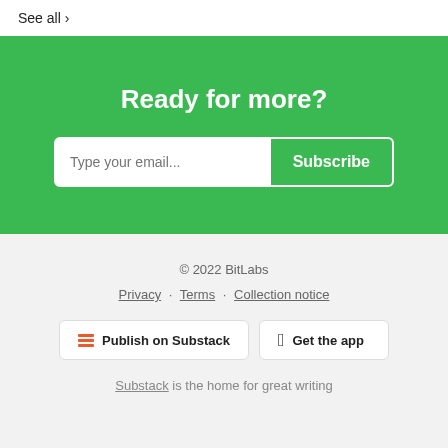See all ›
Ready for more?
Type your email... Subscribe
© 2022 BitLabs
Privacy · Terms · Collection notice
Publish on Substack
Get the app
Substack is the home for great writing